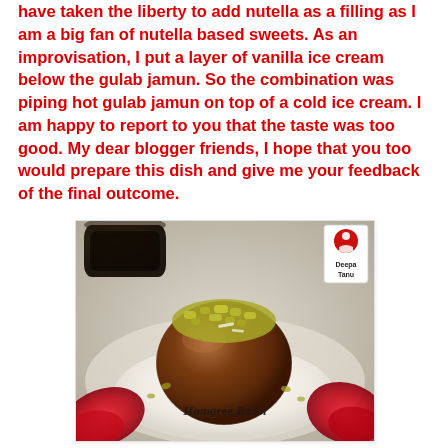have taken the liberty to add nutella as a filling as I am a big fan of nutella based sweets. As an improvisation, I put a layer of vanilla ice cream below the gulab jamun. So the combination was piping hot gulab jamun on top of a cold ice cream. I am happy to report to you that the taste was too good. My dear blogger friends, I hope that you too would prepare this dish and give me your feedback of the final outcome.
[Figure (photo): Food photo of a gulab jamun dessert topped with chopped pistachios sitting on vanilla ice cream, with red rose petals on the side. A dark bowl is visible top-left. A watermark reads 'Hamaree Rasoi' and a logo badge 'Deepa Tanu' is in the top-right corner.]